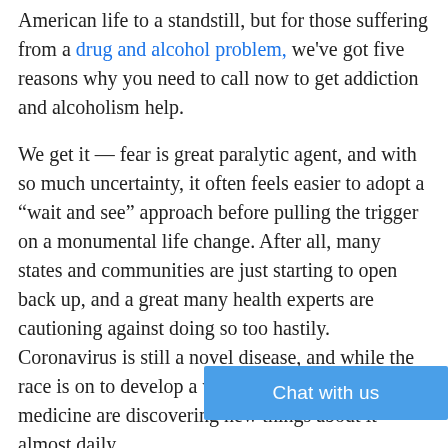American life to a standstill, but for those suffering from a drug and alcohol problem, we've got five reasons why you need to call now to get addiction and alcoholism help.
We get it — fear is great paralytic agent, and with so much uncertainty, it often feels easier to adopt a “wait and see” approach before pulling the trigger on a monumental life change. After all, many states and communities are just starting to open back up, and a great many health experts are cautioning against doing so too hastily. Coronavirus is still a novel disease, and while the race is on to develop a vaccine, science and medicine are discovering new things about it almost daily.
The fears you might have about it are not unreasonable, and as a medical facility, we take the threat of COVID-19 very seriously. When the pandemic first began to sweep across the